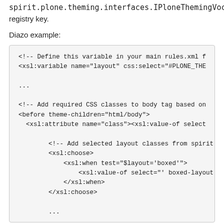spirit.plone.theming.interfaces.IPloneThemingVocabularies registry key.
Diazo example:
<!-- Define this variable in your main rules.xml f
<xsl:variable name="layout" css:select="#PLONE_THE

...

<!-- Add required CSS classes to body tag based on
<before theme-children="html/body">
  <xsl:attribute name="class"><xsl:value-of select

        <!-- Add selected layout classes from spirit.p
        <xsl:choose>
            <xsl:when test="$layout='boxed'">
                <xsl:value-of select="' boxed-layout conta
            </xsl:when>
        </xsl:choose>

        ...